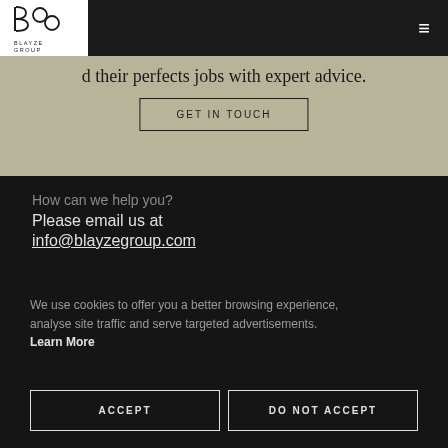[Figure (logo): Blayze Group logo — geometric B and G letterforms in a white box, with text BLAYZE GROUP below]
d their perfects jobs with expert advice.
GET IN TOUCH
How can we help you?
Please email us at
info@blayzegroup.com
We use cookies to offer you a better browsing experience, analyse site traffic and serve targeted advertisements. Learn More
ACCEPT
DO NOT ACCEPT